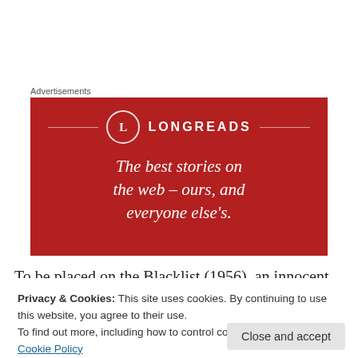Advertisements
[Figure (logo): Longreads advertisement banner — red background with circle logo containing letter L, brand name LONGREADS, decorative horizontal lines, and italic tagline: The best stories on the web – ours, and everyone else's.]
To be placed on the Blacklist (1956), an innocent
Privacy & Cookies: This site uses cookies. By continuing to use this website, you agree to their use. To find out more, including how to control cookies, see here: Cookie Policy
That got her placed on the 'List'. Similarly, in 2018, with